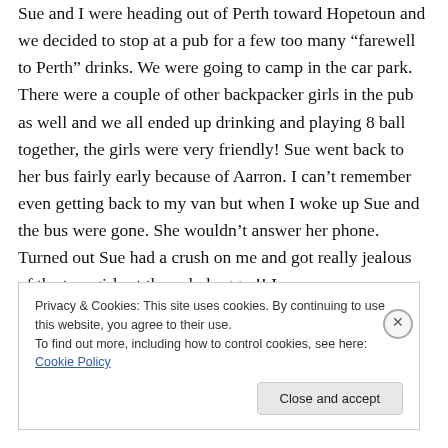Sue and I were heading out of Perth toward Hopetoun and we decided to stop at a pub for a few too many “farewell to Perth” drinks. We were going to camp in the car park. There were a couple of other backpacker girls in the pub as well and we all ended up drinking and playing 8 ball together, the girls were very friendly! Sue went back to her bus fairly early because of Aarron. I can't remember even getting back to my van but when I woke up Sue and the bus were gone. She wouldn’t answer her phone. Turned out Sue had a crush on me and got really jealous of the two girls at the pub, bugger!! I
Privacy & Cookies: This site uses cookies. By continuing to use this website, you agree to their use.
To find out more, including how to control cookies, see here: Cookie Policy